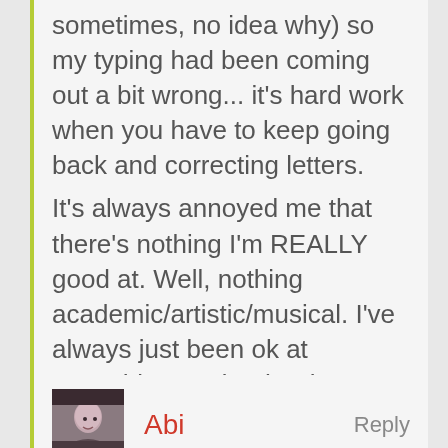sometimes, no idea why) so my typing had been coming out a bit wrong... it's hard work when you have to keep going back and correcting letters.
It's always annoyed me that there's nothing I'm REALLY good at. Well, nothing academic/artistic/musical. I've always just been ok at everything... I'd rather be wonderful at something and crap at the rest.... *sigh*
Abi
Reply